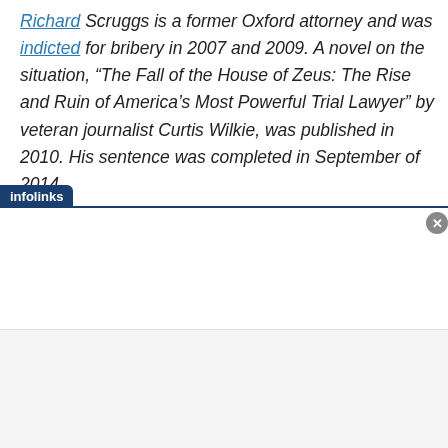Richard Scruggs is a former Oxford attorney and was indicted for bribery in 2007 and 2009. A novel on the situation, “The Fall of the House of Zeus: The Rise and Ruin of America’s Most Powerful Trial Lawyer” by veteran journalist Curtis Wilkie, was published in 2010. His sentence was completed in September of 2014.
infolinks